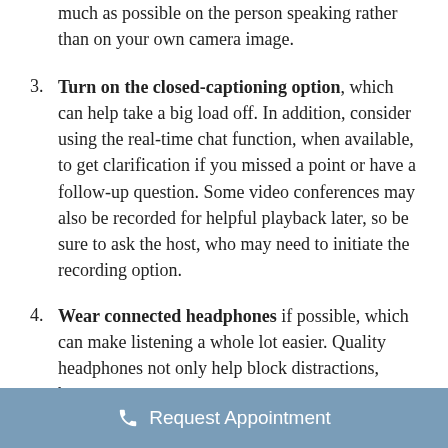much as possible on the person speaking rather than on your own camera image.
Turn on the closed-captioning option, which can help take a big load off. In addition, consider using the real-time chat function, when available, to get clarification if you missed a point or have a follow-up question. Some video conferences may also be recorded for helpful playback later, so be sure to ask the host, who may need to initiate the recording option.
Wear connected headphones if possible, which can make listening a whole lot easier. Quality headphones not only help block distractions, but...
Request Appointment